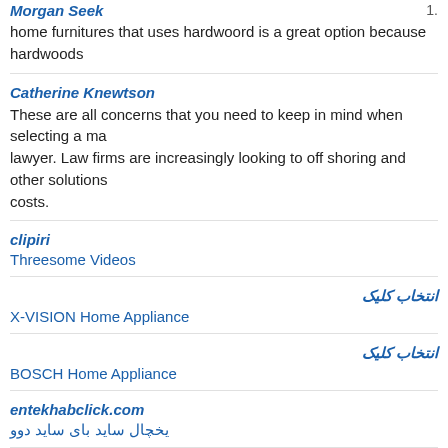Morgan Seek
home furnitures that uses hardwoord is a great option because hardwoods
Catherine Knewtson
These are all concerns that you need to keep in mind when selecting a ma lawyer. Law firms are increasingly looking to off shoring and other solutions costs.
clipiri
Threesome Videos
انتخاب کلیک
X-VISION Home Appliance
انتخاب کلیک
BOSCH Home Appliance
entekhabclick.com
یخچال ساید بای ساید دوو
hotmail.com login
Thank you! I look forward to seeing more from you.